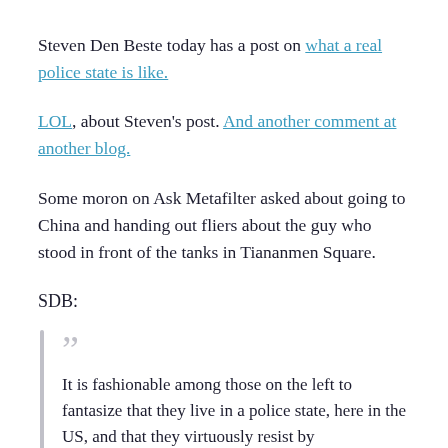Steven Den Beste today has a post on what a real police state is like.
LOL, about Steven's post. And another comment at another blog.
Some moron on Ask Metafilter asked about going to China and handing out fliers about the guy who stood in front of the tanks in Tiananmen Square.
SDB:
“” It is fashionable among those on the left to fantasize that they live in a police state, here in the US, and that they virtuously resist by